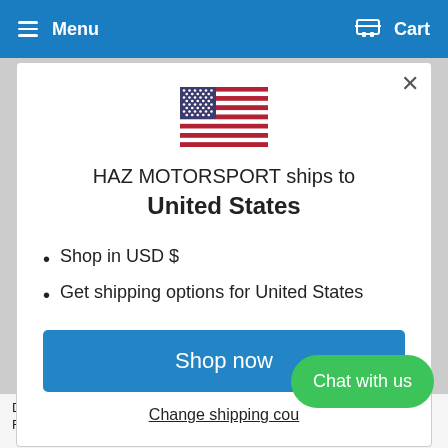Menu   Cart
[Figure (illustration): US flag illustration shown in modal dialog]
HAZ MOTORSPORT ships to United States
Shop in USD $
Get shipping options for United States
Shop now
Change shipping cou...
Chat with us
DP42139R EBC Yellowstuff Front Brake Pads For...
DP4240R EBC Yellowstuff Front Brake Pads For...